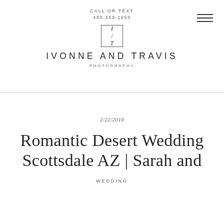CALL OR TEXT
480-459-1993
[Figure (logo): Square box logo with letters I over T separated by a diagonal slash, for Ivonne and Travis Photography]
IVONNE AND TRAVIS
PHOTOGRAPHY
2/22/2018
Romantic Desert Wedding Scottsdale AZ | Sarah and
WEDDING